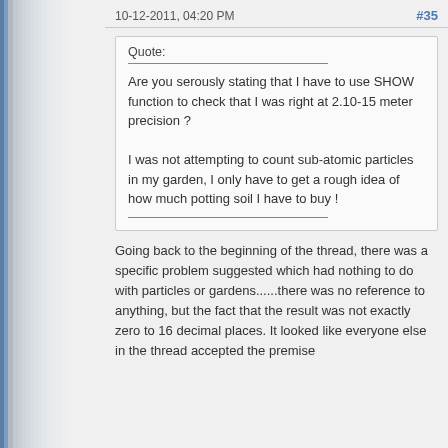10-12-2011, 04:20 PM   #35
Quote:
Are you serously stating that I have to use SHOW function to check that I was right at 2.10-15 meter precision ?

I was not attempting to count sub-atomic particles in my garden, I only have to get a rough idea of how much potting soil I have to buy !
Going back to the beginning of the thread, there was a specific problem suggested which had nothing to do with particles or gardens......there was no reference to anything, but the fact that the result was not exactly zero to 16 decimal places. It looked like everyone else in the thread accepted the premise